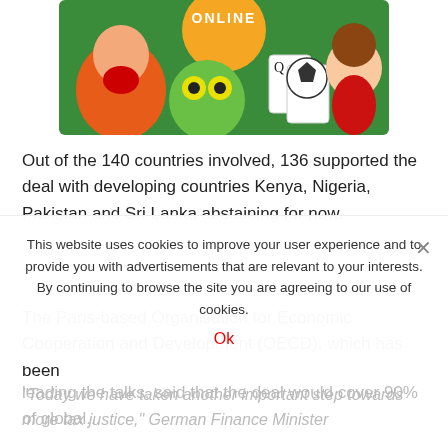[Figure (illustration): Colorful cartoon illustration showing animated game characters: a male character with open mouth, a green monster, playing cards, a soccer ball, and a cute chibi-style character in red. Text 'ONLINE' appears at top in orange letters.]
Out of the 140 countries involved, 136 supported the deal with developing countries Kenya, Nigeria, Pakistan and Sri Lanka abstaining for now.
The Paris-based Organisation for Economic Cooperation and Development (OECD), which has been leading the talks, said that the deal would cover 90% of...
This website uses cookies to improve your user experience and to provide you with advertisements that are relevant to your interests. By continuing to browse the site you are agreeing to our use of cookies.
Ok
"Today we have taken another important step towards more tax justice," German Finance Minister